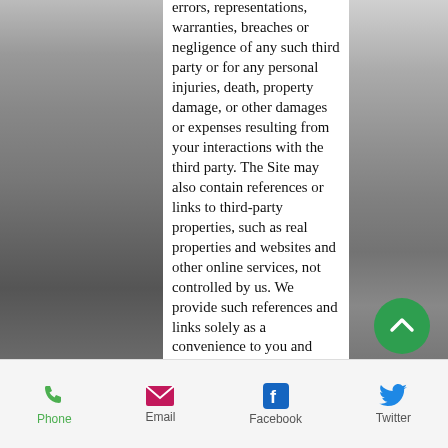errors, representations, warranties, breaches or negligence of any such third party or for any personal injuries, death, property damage, or other damages or expenses resulting from your interactions with the third party. The Site may also contain references or links to third-party properties, such as real properties and websites and other online services, not controlled by us. We provide such references and links solely as a convenience to you and such references and links should not be considered endorsements or recommendations of such third-party properties. You acknowledge and agree that we are not responsible for any content of the
Phone  Email  Facebook  Twitter